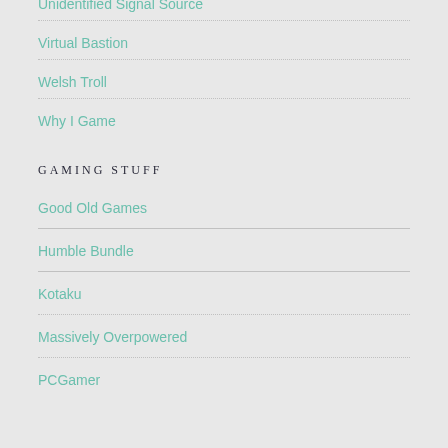Unidentified Signal Source
Virtual Bastion
Welsh Troll
Why I Game
GAMING STUFF
Good Old Games
Humble Bundle
Kotaku
Massively Overpowered
PCGamer